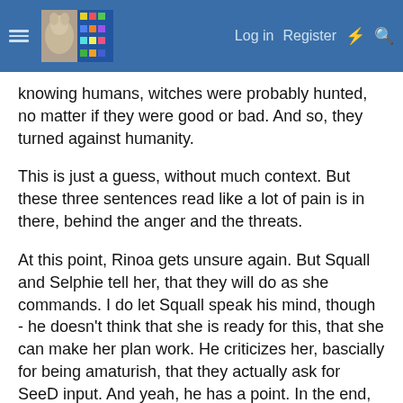Navigation bar with hamburger menu, logo, Log in, Register, and icon buttons
knowing humans, witches were probably hunted, no matter if they were good or bad. And so, they turned against humanity.
This is just a guess, without much context. But these three sentences read like a lot of pain is in there, behind the anger and the threats.
At this point, Rinoa gets unsure again. But Squall and Selphie tell her, that they will do as she commands. I do let Squall speak his mind, though - he doesn't think that she is ready for this, that she can make her plan work. He criticizes her, bascially for being amaturish, that they actually ask for SeeD input. And yeah, he has a point. In the end, Rinoa uses him and his colleagues in dangerous situations, without having thought them through.
This might be harsh, but also fair, I think. Squall is responsible for the people under him, and with lacking plans, they might all die. But Rinoa also starts to learn. She knows now, that SeeDs